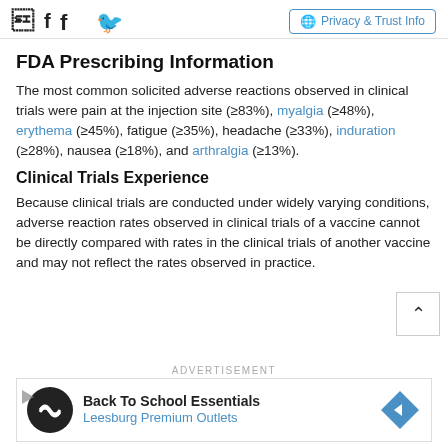FDA Prescribing Information | Privacy & Trust Info
FDA Prescribing Information
The most common solicited adverse reactions observed in clinical trials were pain at the injection site (≥83%), myalgia (≥48%), erythema (≥45%), fatigue (≥35%), headache (≥33%), induration (≥28%), nausea (≥18%), and arthralgia (≥13%).
Clinical Trials Experience
Because clinical trials are conducted under widely varying conditions, adverse reaction rates observed in clinical trials of a vaccine cannot be directly compared with rates in the clinical trials of another vaccine and may not reflect the rates observed in practice.
ADVERTISEMENT
[Figure (other): Advertisement banner for Back To School Essentials at Leesburg Premium Outlets]